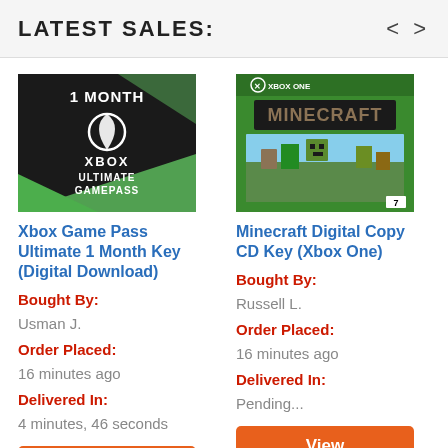LATEST SALES:
[Figure (illustration): Xbox Game Pass Ultimate 1 Month Key product image: dark background with green diagonal stripe, Xbox logo, text '1 MONTH XBOX ULTIMATE GAMEPASS']
Xbox Game Pass Ultimate 1 Month Key (Digital Download)
Bought By: Usman J.
Order Placed: 16 minutes ago
Delivered In: 4 minutes, 46 seconds
[Figure (illustration): Minecraft Digital Copy CD Key Xbox One product image: green background with Minecraft logo and characters]
Minecraft Digital Copy CD Key (Xbox One)
Bought By: Russell L.
Order Placed: 16 minutes ago
Delivered In: Pending...